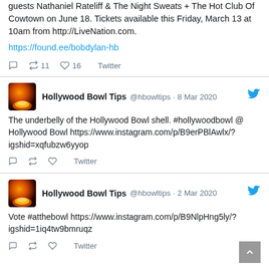guests Nathaniel Rateliff & The Night Sweats + The Hot Club Of Cowtown on June 18. Tickets available this Friday, March 13 at 10am from http://LiveNation.com.

https://found.ee/bobdylan-hb
↺ 11  ♡ 16  Twitter
Hollywood Bowl Tips @hbowltips · 8 Mar 2020
The underbelly of the Hollywood Bowl shell. #hollywoodbowl @ Hollywood Bowl https://www.instagram.com/p/B9erPBlAwlx/?igshid=xqfubzw6yyop
Twitter
Hollywood Bowl Tips @hbowltips · 2 Mar 2020
Vote #atthebowl https://www.instagram.com/p/B9NlpHng5ly/?igshid=1iq4tw9bmruqz
Twitter